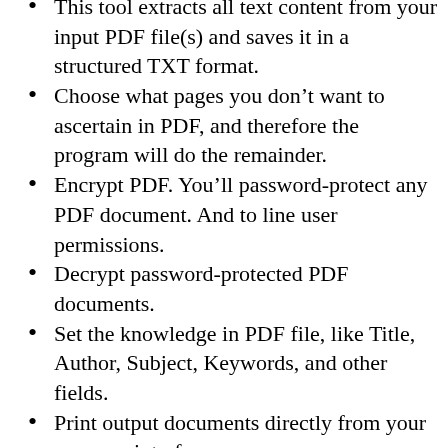This tool extracts all text content from your input PDF file(s) and saves it in a structured TXT format.
Choose what pages you don’t want to ascertain in PDF, and therefore the program will do the remainder.
Encrypt PDF. You’ll password-protect any PDF document. And to line user permissions.
Decrypt password-protected PDF documents.
Set the knowledge in PDF file, like Title, Author, Subject, Keywords, and other fields.
Print output documents directly from your program interface.